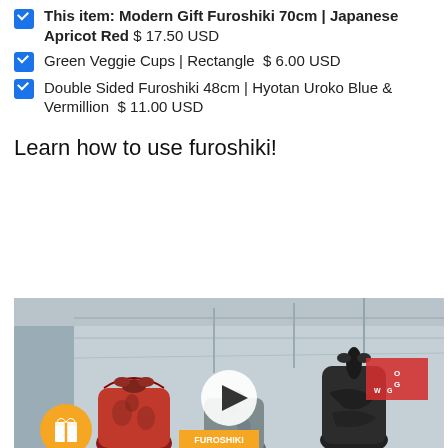This item: Modern Gift Furoshiki 70cm | Japanese Apricot Red  $17.50 USD
Green Veggie Cups | Rectangle  $6.00 USD
Double Sided Furoshiki 48cm | Hyotan Uroko Blue & Vermillion  $11.00 USD
Learn how to use furoshiki!
[Figure (photo): Video thumbnail showing three furoshiki-wrapped items on a table near a window, with a play button overlay in the center, an orange gift icon in the lower-left, and a red banner overlay with text in the center.]